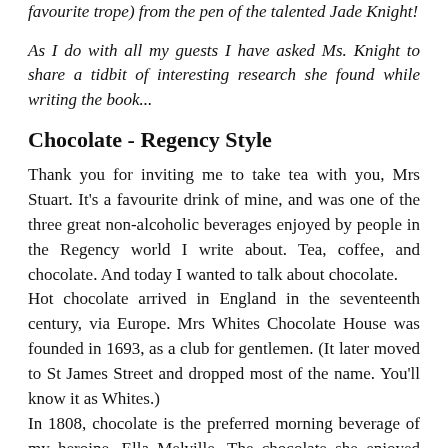favourite trope) from the pen of the talented Jade Knight!
As I do with all my guests I have asked Ms. Knight to share a tidbit of interesting research she found while writing the book...
Chocolate - Regency Style
Thank you for inviting me to take tea with you, Mrs Stuart. It's a favourite drink of mine, and was one of the three great non-alcoholic beverages enjoyed by people in the Regency world I write about. Tea, coffee, and chocolate. And today I wanted to talk about chocolate. Hot chocolate arrived in England in the seventeenth century, via Europe. Mrs Whites Chocolate House was founded in 1693, as a club for gentlemen. (It later moved to St James Street and dropped most of the name. You'll know it as Whites.) In 1808, chocolate is the preferred morning beverage of my heroine, Ella Melville. The chocolate she enjoyed came as a paste, to be made into a drink with milk